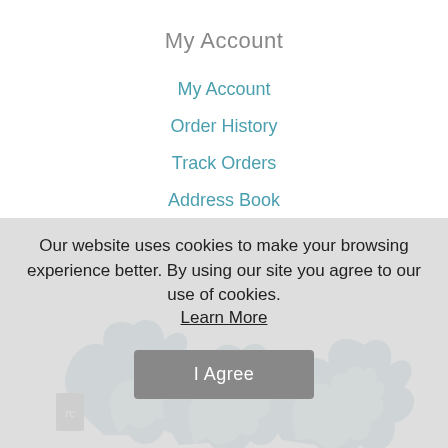My Account
My Account
Order History
Track Orders
Address Book
[Figure (photo): A decorative throw pillow with a teal/dark blue tropical monstera leaf pattern on a white background, partially visible from the bottom of the page.]
Our website uses cookies to make your browsing experience better. By using our site you agree to our use of cookies.
Learn More
I Agree